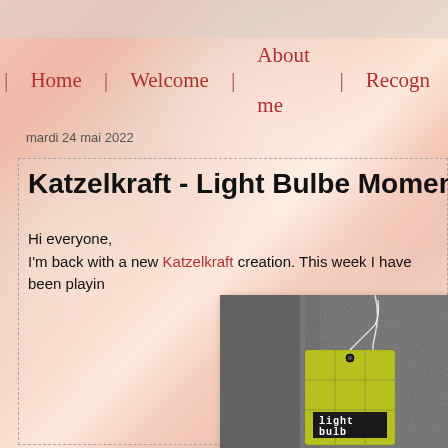Home | Welcome | About me | Recogn...
mardi 24 mai 2022
Katzelkraft - Light Bulbe Momen...
Hi everyone,
I'm back with a new Katzelkraft creation. This week I have been playin...
[Figure (photo): Handmade tag/label craft project on grey textured background. Yellow-green tag with 'light bulb' text in black label at bottom right, attached with white string.]